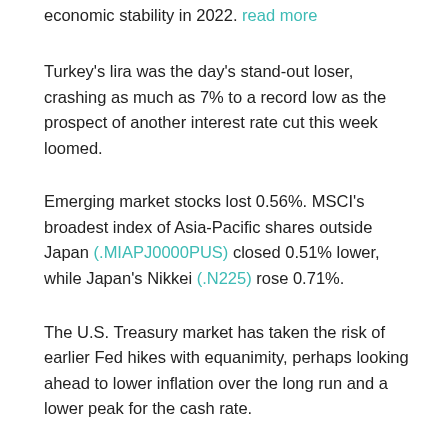economic stability in 2022. read more
Turkey's lira was the day's stand-out loser, crashing as much as 7% to a record low as the prospect of another interest rate cut this week loomed.
Emerging market stocks lost 0.56%. MSCI's broadest index of Asia-Pacific shares outside Japan (.MIAPJ0000PUS) closed 0.51% lower, while Japan's Nikkei (.N225) rose 0.71%.
The U.S. Treasury market has taken the risk of earlier Fed hikes with equanimity, perhaps looking ahead to lower inflation over the long run and a lower peak for the cash rate.
At 1.48%, 10-year Treasury yields remain well below this year's peak of 1.776%.
U.S. and European bond yields were lower on Monday , .